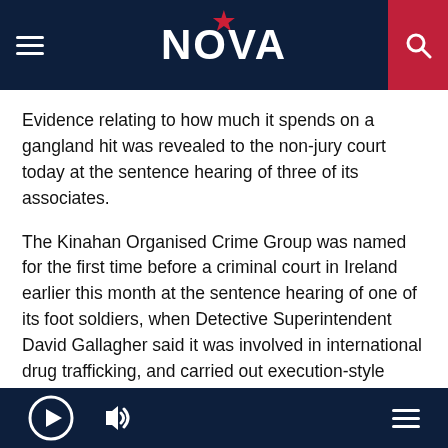[Figure (logo): NOVA radio logo with red star on dark navy header bar with hamburger menu and search button]
Evidence relating to how much it spends on a gangland hit was revealed to the non-jury court today at the sentence hearing of three of its associates.
The Kinahan Organised Crime Group was named for the first time before a criminal court in Ireland earlier this month at the sentence hearing of one of its foot soldiers, when Detective Superintendent David Gallagher said it was involved in international drug trafficking, and carried out execution-style murders to advance its interests.
At a sentence hearing today for three others, involved in a
[Figure (other): Dark navy footer bar with play button icon, speaker/volume icon, and hamburger menu icon]